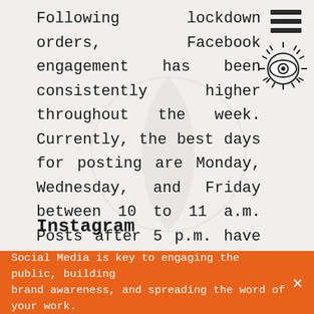Following lockdown orders, Facebook engagement has been consistently higher throughout the week. Currently, the best days for posting are Monday, Wednesday, and Friday between 10 to 11 a.m. Posts after 5 p.m. have lower engagement, presumably because remote workers have more demands on them during this time.
Instagram
Before COVID-19, the best times to post
Social Media is key to engaging the public, building brand awareness, and spreading the word of your work.